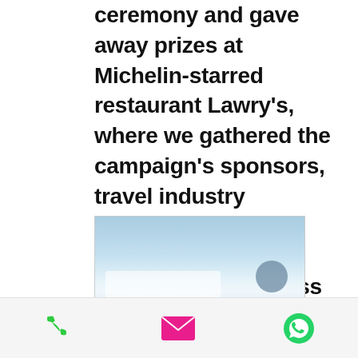ceremony and gave away prizes at Michelin-starred restaurant Lawry's, where we gathered the campaign's sponsors, travel industry stakeholders, media and participants to celebrate the success of the campaign and inspire them to visit and experience the US, one dish at a time.
[Figure (photo): A blurred/partially visible image, appears to be a travel or restaurant-related photo with blue sky tones in the upper portion and darker tones at the bottom, with some white overlay elements.]